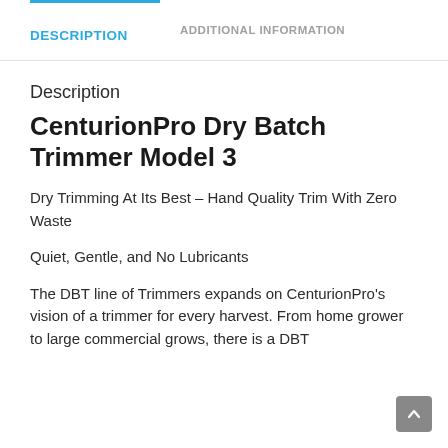DESCRIPTION
ADDITIONAL INFORMATION
Description
CenturionPro Dry Batch Trimmer Model 3
Dry Trimming At Its Best – Hand Quality Trim With Zero Waste
Quiet, Gentle, and No Lubricants
The DBT line of Trimmers expands on CenturionPro's vision of a trimmer for every harvest. From home grower to large commercial grows, there is a DBT